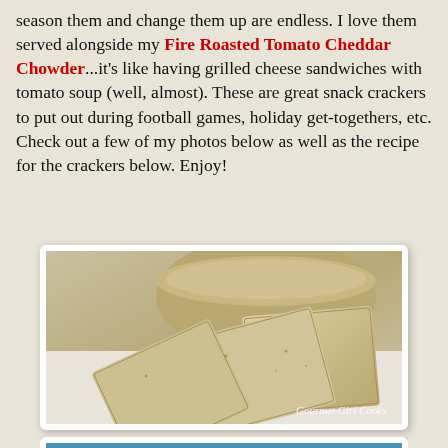season them and change them up are endless. I love them served alongside my Fire Roasted Tomato Cheddar Chowder...it's like having grilled cheese sandwiches with tomato soup (well, almost). These are great snack crackers to put out during football games, holiday get-togethers, etc. Check out a few of my photos below as well as the recipe for the crackers below. Enjoy!
[Figure (photo): Homemade crackers arranged on a white plate with a bowl in the background, watermarked 'Gourmet Girl Cooks']
[Figure (photo): A bowl of dip garnished with herbs and spices, served alongside crackers on a white decorative plate]